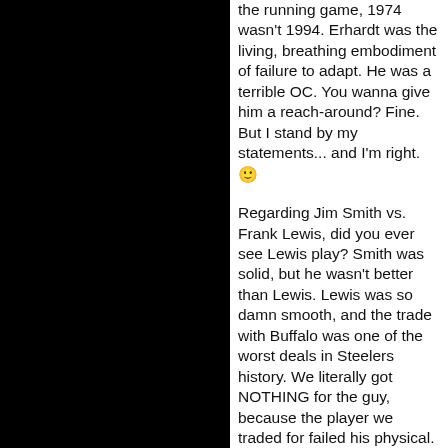the running game, 1974 wasn't 1994. Erhardt was the living, breathing embodiment of failure to adapt. He was a terrible OC. You wanna give him a reach-around? Fine. But I stand by my statements... and I'm right. 🙂
Regarding Jim Smith vs. Frank Lewis, did you ever see Lewis play? Smith was solid, but he wasn't better than Lewis. Lewis was so damn smooth, and the trade with Buffalo was one of the worst deals in Steelers history. We literally got NOTHING for the guy, because the player we traded for failed his physical. To this day, I don't understand how that was allowed to happen. Wish we could've kept Lewis as the passing rules started to open up, because he kicked ass in Buffalo. I would've taken Lewis